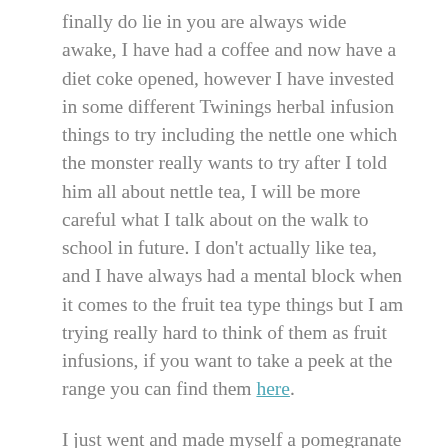finally do lie in you are always wide awake, I have had a coffee and now have a diet coke opened, however I have invested in some different Twinings herbal infusion things to try including the nettle one which the monster really wants to try after I told him all about nettle tea, I will be more careful what I talk about on the walk to school in future. I don't actually like tea, and I have always had a mental block when it comes to the fruit tea type things but I am trying really hard to think of them as fruit infusions, if you want to take a peek at the range you can find them here.
I just went and made myself a pomegranate and raspberry infusion so lets get a move on with this weeks blog posts and I will let you know how I do with it once it cools a little...
1. The first blog I am sharing today is by someone